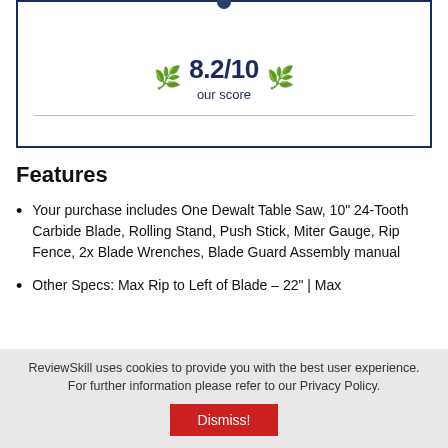[Figure (other): Score display box with dark navy border showing 8.2/10 our score with laurel wreath decorations on either side]
Features
Your purchase includes One Dewalt Table Saw, 10" 24-Tooth Carbide Blade, Rolling Stand, Push Stick, Miter Gauge, Rip Fence, 2x Blade Wrenches, Blade Guard Assembly manual
Other Specs: Max Rip to Left of Blade – 22" | Max
ReviewSkill uses cookies to provide you with the best user experience. For further information please refer to our Privacy Policy.